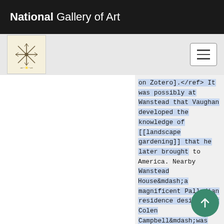National Gallery of Art
[Figure (logo): Art-related snowflake/asterisk logo in a beige box, with hamburger menu icon on the right]
on Zotero].</ref> It was possibly at Wanstead that Vaughan developed the knowledge of [[landscape gardening]] that he later brought to America. Nearby Wanstead House&mdash;a magnificent Palladian residence designed by Colen Campbell&mdash;was among the first in England to have its existing formal